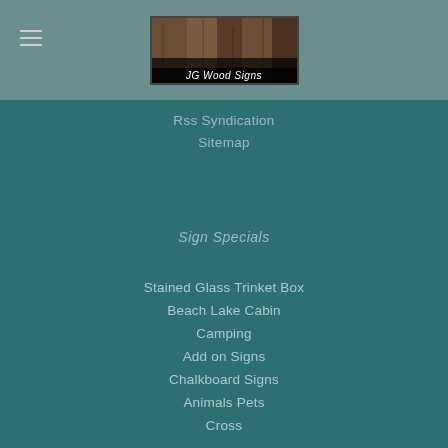JG Wood Signs
Rss Syndication
Sitemap
Sign Specials
Stained Glass Trinket Box
Beach Lake Cabin
Camping
Add on Signs
Chalkboard Signs
Animals Pets
Cross
Dog Feeding Dish
Double Sided Signs
Extra Large
Family Name Signs
Floral Painted Signs
Housewarming
Just Text